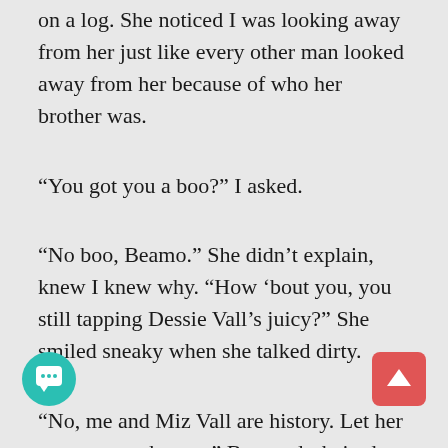on a log. She noticed I was looking away from her just like every other man looked away from her because of who her brother was.
“You got you a boo?” I asked.
“No boo, Beamo.” She didn’t explain, knew I knew why. “How ‘bout you, you still tapping Dessie Vall’s juicy?” She smiled sneaky when she talked dirty.
“No, me and Miz Vall are history. Let her go two months ago.” Burgundy-haired Dessie had been my ambitious bookkeeper. I went on, “Des always wanted me to check in and out. Played like she was keeping books on me like she did the